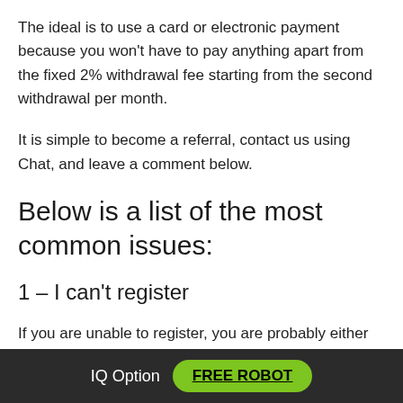The ideal is to use a card or electronic payment because you won't have to pay anything apart from the fixed 2% withdrawal fee starting from the second withdrawal per month.
It is simple to become a referral, contact us using Chat, and leave a comment below.
Below is a list of the most common issues:
1 – I can't register
If you are unable to register, you are probably either
IQ Option  FREE ROBOT